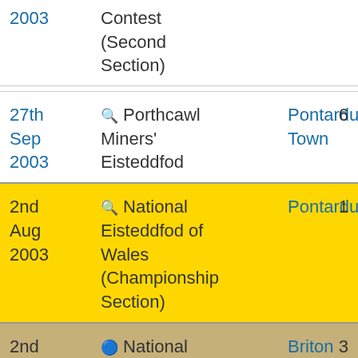| Date | Event | Winner | Place |
| --- | --- | --- | --- |
| 2003 | Contest (Second Section) |  |  |
| 27th Sep 2003 | 🔍 Porthcawl Miners' Eisteddfod | Pontardulais Town | 6 |
| 2nd Aug 2003 | 🔍 National Eisteddfod of Wales (Championship Section) | Pontardulais | 1 |
| 2nd Aug 2003 | 🔍 National Eisteddfod of Wales | Briton Ferry | 3 |